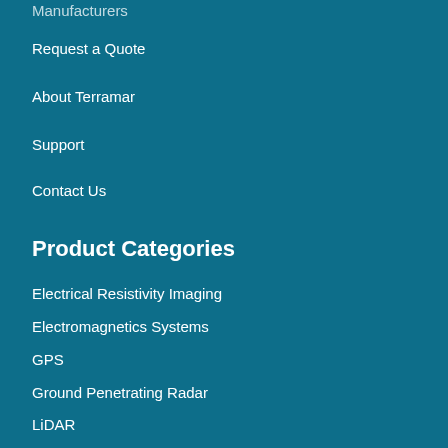Manufacturers
Request a Quote
About Terramar
Support
Contact Us
Product Categories
Electrical Resistivity Imaging
Electromagnetics Systems
GPS
Ground Penetrating Radar
LiDAR
Magnetic Susceptibility Meters